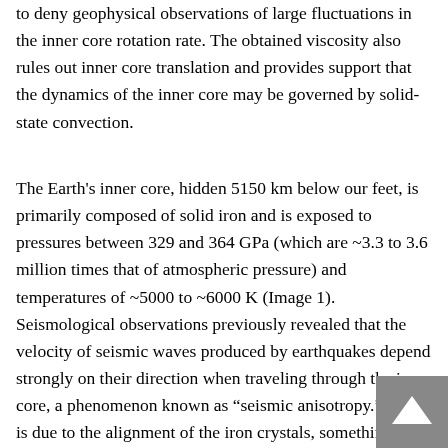to deny geophysical observations of large fluctuations in the inner core rotation rate. The obtained viscosity also rules out inner core translation and provides support that the dynamics of the inner core may be governed by solid-state convection.
The Earth's inner core, hidden 5150 km below our feet, is primarily composed of solid iron and is exposed to pressures between 329 and 364 GPa (which are ~3.3 to 3.6 million times that of atmospheric pressure) and temperatures of ~5000 to ~6000 K (Image 1). Seismological observations previously revealed that the velocity of seismic waves produced by earthquakes depend strongly on their direction when traveling through the inner core, a phenomenon known as “seismic anisotropy.” This is due to the alignment of the iron crystals, something that may be caused by deformation inside the inner core. More specific variations in seismic anisotropy between the eastern and western hemisphere of the inner core have also been reported. Other seismic studies furthermore suggest